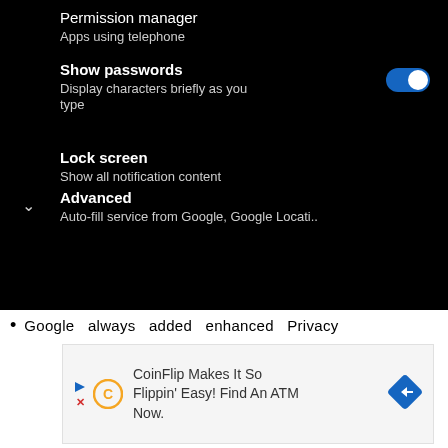[Figure (screenshot): Android settings screen (dark mode) showing Permission manager, Show passwords (toggle ON), Lock screen, and Advanced settings items]
Google always added enhanced Privacy
[Figure (infographic): CoinFlip advertisement: CoinFlip Makes It So Flippin' Easy! Find An ATM Now.]